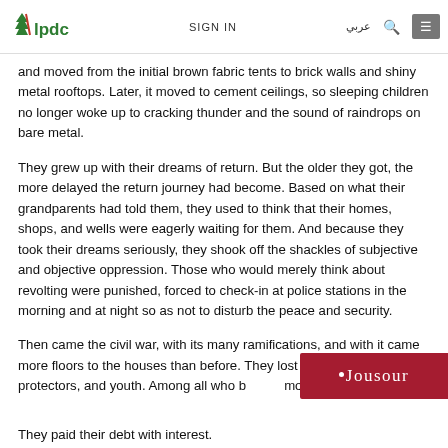ALPDC | SIGN IN | عربي | [search] | [menu]
and moved from the initial brown fabric tents to brick walls and shiny metal rooftops. Later, it moved to cement ceilings, so sleeping children no longer woke up to cracking thunder and the sound of raindrops on bare metal.
They grew up with their dreams of return. But the older they got, the more delayed the return journey had become. Based on what their grandparents had told them, they used to think that their homes, shops, and wells were eagerly waiting for them. And because they took their dreams seriously, they shook off the shackles of subjective and objective oppression. Those who would merely think about revolting were punished, forced to check-in at police stations in the morning and at night so as not to disturb the peace and security.
Then came the civil war, with its many ramifications, and with it came more floors to the houses than before. They lost their supporters, protectors, and youth. Among all who b[…] most.
They paid their debt with interest.